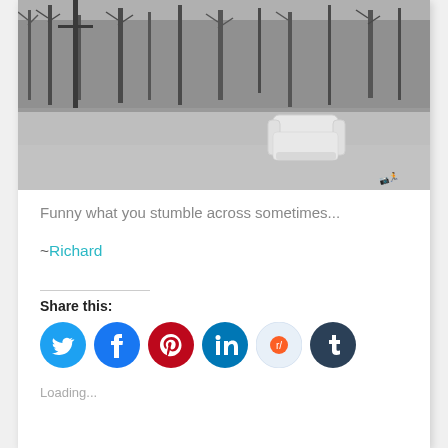[Figure (photo): Black and white photograph of a white armchair sitting alone in a parking lot or road, with bare winter trees in the background and a utility pole on the left.]
Funny what you stumble across sometimes...
~Richard
Share this:
Loading...